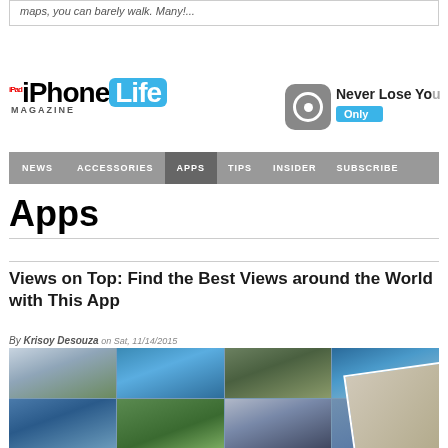maps, you can barely walk. Many!...
[Figure (logo): iPhone Life Magazine logo with iPad superscript and teal Life badge]
[Figure (infographic): Tile app advertisement - Never Lose You / Only ...]
NEWS  ACCESSORIES  APPS  TIPS  INSIDER  SUBSCRIBE
Apps
Views on Top: Find the Best Views around the World with This App
By Krisoy Desouza on Sat, 11/14/2015
[Figure (photo): Photo collage of world landmarks: castle, statue, Great Wall, aerial coastline, waterfall, hills, city skyline]